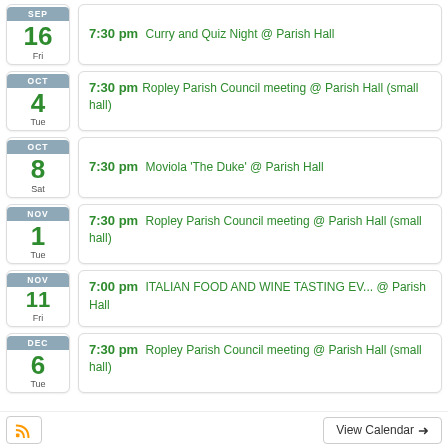SEP 16 Fri — 7:30 pm Curry and Quiz Night @ Parish Hall
OCT 4 Tue — 7:30 pm Ropley Parish Council meeting @ Parish Hall (small hall)
OCT 8 Sat — 7:30 pm Moviola 'The Duke' @ Parish Hall
NOV 1 Tue — 7:30 pm Ropley Parish Council meeting @ Parish Hall (small hall)
NOV 11 Fri — 7:00 pm ITALIAN FOOD AND WINE TASTING EV... @ Parish Hall
DEC 6 Tue — 7:30 pm Ropley Parish Council meeting @ Parish Hall (small hall)
View Calendar →